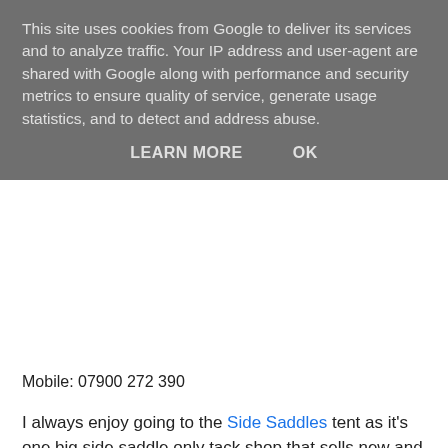This site uses cookies from Google to deliver its services and to analyze traffic. Your IP address and user-agent are shared with Google along with performance and security metrics to ensure quality of service, generate usage statistics, and to detect and address abuse.
LEARN MORE    OK
Mobile: 07900 272 390
I always enjoy going to the Side Saddles tent as it's one big side saddle only tack shop that sells new and vintage/antique items. I ALWAYS have to buy something from them!
[Figure (photo): Broken image placeholder (small icon)]
[Figure (photo): Broken image placeholder (small icon)]
A closer look at the Victorian pilch side saddle that they have for sale (if I had a spare £650, I'd buy it just for decoration)...
[Figure (photo): Broken image placeholder (small icon)]